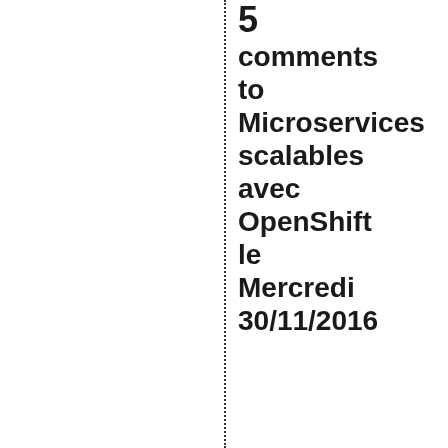5 comments to Microservices scalables avec OpenShift le Mercredi 30/11/2016
ehsavoie16november